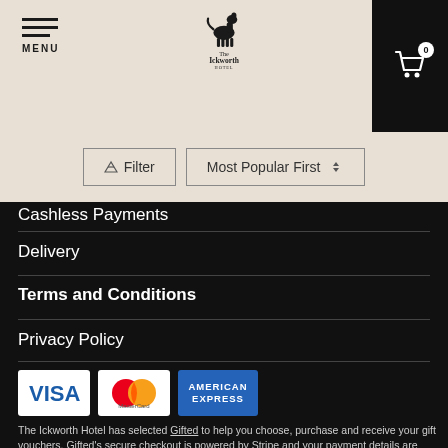MENU | The Ickworth Hotel | Cart (0)
Filter | Most Popular First
Cashless Payments
Delivery
Terms and Conditions
Privacy Policy
[Figure (logo): Payment method logos: VISA, MasterCard, American Express]
The Ickworth Hotel has selected Gifted to help you choose, purchase and receive your gift vouchers. Gifted's secure checkout is powered by Stripe and your payment details are never stored.